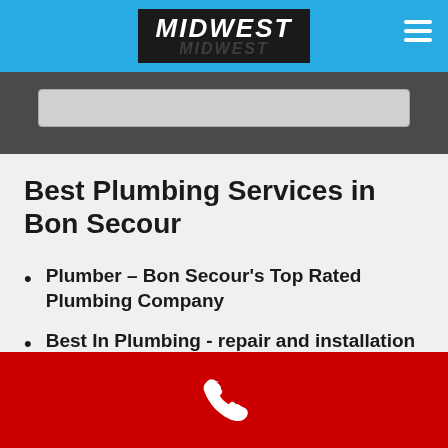[Figure (logo): Midwest logo in black box on blue navigation bar with hamburger menu icon]
[Figure (screenshot): Search input box on dark gray background]
Best Plumbing Services in Bon Secour
Plumber – Bon Secour's Top Rated Plumbing Company
Best In Plumbing - repair and installation
[Figure (infographic): Red footer bar with white phone handset icon]